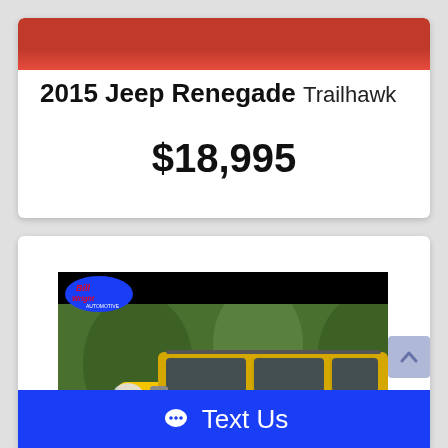2015 Jeep Renegade Trailhawk
$18,995
[Figure (photo): Yellow 2015 Jeep Renegade Trailhawk SUV photographed outdoors with green trees in background. Dealer logo (Bill Wright Automotive) shown in top left corner of photo.]
Text Us